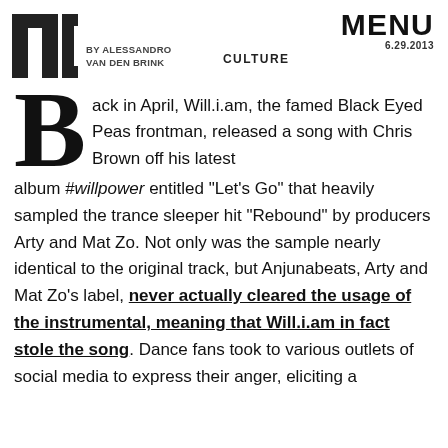MIC | BY ALESSANDRO VAN DEN BRINK | CULTURE | MENU 6.29.2013
Back in April, Will.i.am, the famed Black Eyed Peas frontman, released a song with Chris Brown off his latest album #willpower entitled "Let's Go" that heavily sampled the trance sleeper hit "Rebound" by producers Arty and Mat Zo. Not only was the sample nearly identical to the original track, but Anjunabeats, Arty and Mat Zo's label, never actually cleared the usage of the instrumental, meaning that Will.i.am in fact stole the song. Dance fans took to various outlets of social media to express their anger, eliciting a response from Arty's Twitter account that went all the